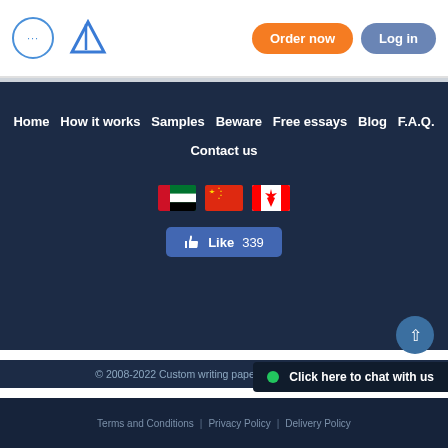... [logo] Order now | Log in
Home  How it works  Samples  Beware  Free essays  Blog  F.A.Q.  Contact us
[Figure (illustration): Three country flags: UAE, China, Canada]
[Figure (illustration): Facebook Like button showing 339 likes]
© 2008-2022 Custom writing papers. All rights reserved
Click here to chat with us
Terms and Conditions | Privacy Policy | Delivery Policy